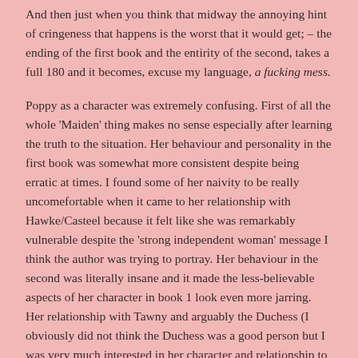And then just when you think that midway the annoying hint of cringeness that happens is the worst that it would get; – the ending of the first book and the entirity of the second, takes a full 180 and it becomes, excuse my language, a fucking mess.
Poppy as a character was extremely confusing. First of all the whole 'Maiden' thing makes no sense especially after learning the truth to the situation. Her behaviour and personality in the first book was somewhat more consistent despite being erratic at times. I found some of her naivity to be really uncomefortable when it came to her relationship with Hawke/Casteel because it felt like she was remarkably vulnerable despite the 'strong independent woman' message I think the author was trying to portray. Her behaviour in the second was literally insane and it made the less-believable aspects of her character in book 1 look even more jarring. Her relationship with Tawny and arguably the Duchess (I obviously did not think the Duchess was a good person but I was very much interested in her character and relationship to Poppy) which made their absence from the second book (minus the Duchess for a few pages near the end) greatly affect the way I saw her character. Tawny